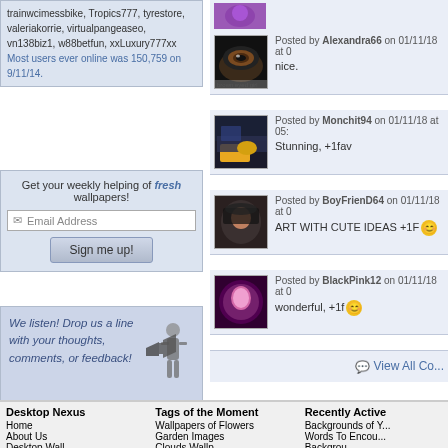trainwcimessbike, Tropics777, tyrestore, valeriakorrie, virtualpangeaseo, vn138biz1, w88betfun, xxLuxury777xx
Most users ever online was 150,759 on 9/11/14.
Get your weekly helping of fresh wallpapers!
Email Address
Sign me up!
We listen! Drop us a line with your thoughts, comments, or feedback!
Support This Site
Posted by Alexandra66 on 01/11/18 at 0
nice.
Posted by Monchit94 on 01/11/18 at 05:
Stunning, +1fav
Posted by BoyFrienD64 on 01/11/18 at 0
ART WITH CUTE IDEAS +1F
Posted by BlackPink12 on 01/11/18 at 0
wonderful, +1f
View All Co...
Desktop Nexus
Home
About Us
Desktop Wall...
Tags of the Moment
Wallpapers of Flowers
Garden Images
Clouds Wallp...
Recently Active
Backgrounds of Y...
Words To Encou...
Backgrou...